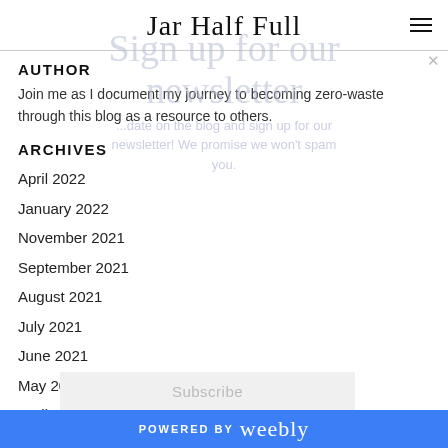Jar Half Full
AUTHOR
Join me as I document my journey to becoming zero-waste through this blog as a resource to others.
ARCHIVES
April 2022
January 2022
November 2021
September 2021
August 2021
July 2021
June 2021
May 2021
April 2021
POWERED BY weebly